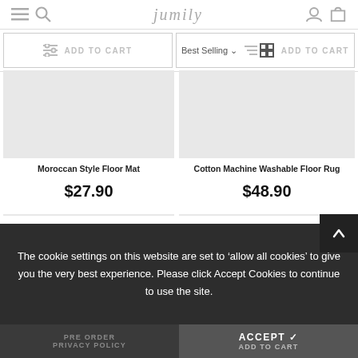jumily
ADD TO CART | Best Selling | ADD TO CART
Moroccan Style Floor Mat
$27.90
Cotton Machine Washable Floor Rug
$48.90
[Figure (screenshot): Product image placeholders for two rugs in a two-column grid layout]
The cookie settings on this website are set to ‘allow all cookies’ to give you the very best experience. Please click Accept Cookies to continue to use the site.
PRE ORDER | PRIVACY POLICY | ACCEPT ✓ | ADD TO CART